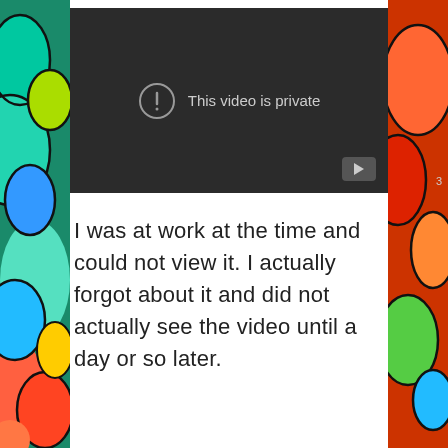[Figure (screenshot): A YouTube video embed showing a dark gray player with the message 'This video is private' and a warning icon circle with exclamation mark. A YouTube play button appears in the bottom right corner of the player.]
I was at work at the time and could not view it. I actually forgot about it and did not actually see the video until a day or so later.